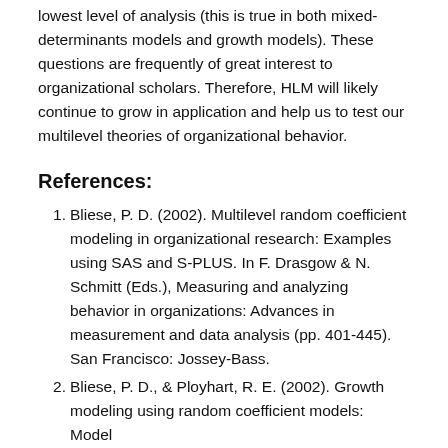lowest level of analysis (this is true in both mixed-determinants models and growth models). These questions are frequently of great interest to organizational scholars. Therefore, HLM will likely continue to grow in application and help us to test our multilevel theories of organizational behavior.
References:
1. Bliese, P. D. (2002). Multilevel random coefficient modeling in organizational research: Examples using SAS and S-PLUS. In F. Drasgow & N. Schmitt (Eds.), Measuring and analyzing behavior in organizations: Advances in measurement and data analysis (pp. 401-445). San Francisco: Jossey-Bass.
2. Bliese, P. D., & Ployhart, R. E. (2002). Growth modeling using random coefficient models: Model